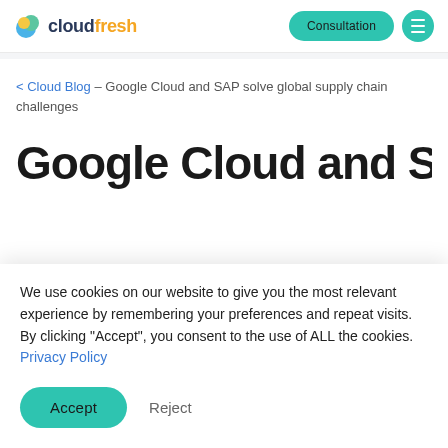cloudfresh — Consultation (navigation header)
< Cloud Blog – Google Cloud and SAP solve global supply chain challenges
Google Cloud and SAP
We use cookies on our website to give you the most relevant experience by remembering your preferences and repeat visits. By clicking "Accept", you consent to the use of ALL the cookies. Privacy Policy
Accept   Reject